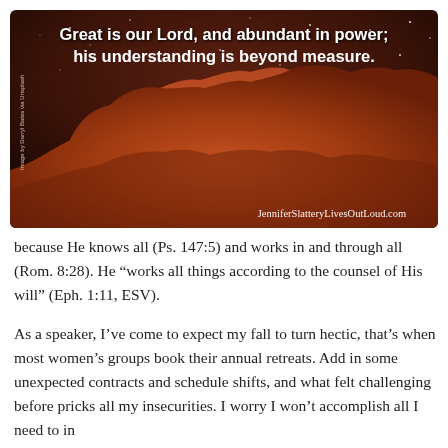[Figure (photo): Night sky photo of red rock formation (mesa) under a starry dark reddish-brown sky. White bold text overlaid reads: 'Great is our Lord, and abundant in power; his understanding is beyond measure.' Bottom right watermark: JenniferSlatteryLivesOutLoud.com. Left side has small rotated image credit text.]
because He knows all (Ps. 147:5) and works in and through all (Rom. 8:28). He “works all things according to the counsel of His will” (Eph. 1:11, ESV).
As a speaker, I’ve come to expect my fall to turn hectic, that’s when most women’s groups book their annual retreats. Add in some unexpected contracts and schedule shifts, and what felt challenging before pricks all my insecurities. I worry I won’t accomplish all I need to in